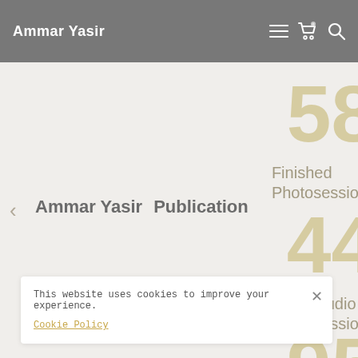Ammar Yasir
58
Finished Photosessions
Ammar Yasir   Publication
44
Studio Sessions
95
This website uses cookies to improve your experience. Cookie Policy